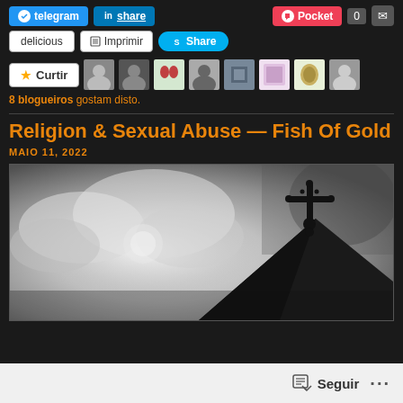[Figure (screenshot): Social sharing buttons row: Telegram, LinkedIn Share, Pocket (0), mail icon]
[Figure (screenshot): Social sharing buttons row: delicious, Imprimir (print), Skype Share]
[Figure (screenshot): Like/Curtir button with star icon followed by 8 blogger avatar thumbnails]
8 blogueiros gostam disto.
Religion & Sexual Abuse — Fish Of Gold
MAIO 11, 2022
[Figure (photo): Black and white photo of a church steeple with a cross silhouetted against a dramatic cloudy sky]
[Figure (screenshot): Bottom bar with Seguir (Follow) button and three dots menu]